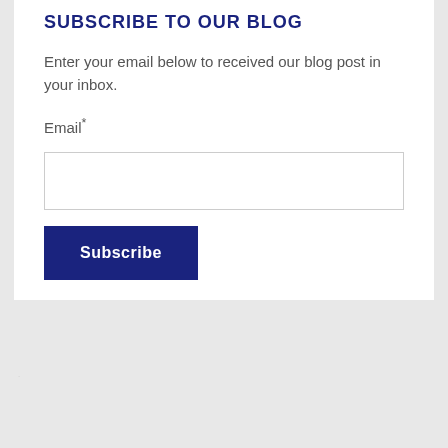SUBSCRIBE TO OUR BLOG
Enter your email below to received our blog post in your inbox.
Email*
Subscribe